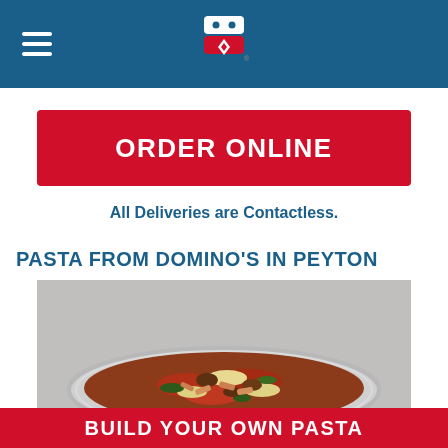Domino's navigation bar with hamburger menu and logo
ORDER ONLINE
All Deliveries are Contactless.
PASTA FROM DOMINO'S IN PEYTON
[Figure (photo): A round aluminum tray filled with baked pasta, featuring penne with red tomato sauce, melted cheese, Italian sausage, and spinach, placed on brown parchment paper on a gray surface.]
BUILD YOUR OWN PASTA